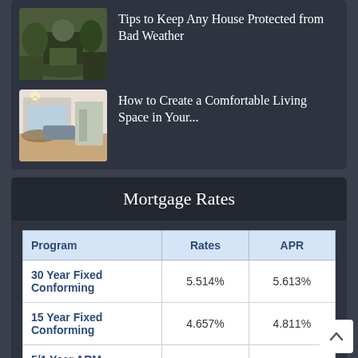[Figure (photo): Person in military/camouflage gear outdoors among trees]
Tips to Keep Any House Protected from Bad Weather
[Figure (photo): Interior photo of a comfortable living room with sofa, rug, and lighting]
How to Create a Comfortable Living Space in Your...
Mortgage Rates
| Program | Rates | APR |
| --- | --- | --- |
| 30 Year Fixed Conforming | 5.514% | 5.613% |
| 15 Year Fixed Conforming | 4.657% | 4.811% |
| 5/1 Year ARM Conforming | 5.125% | 5.159% |